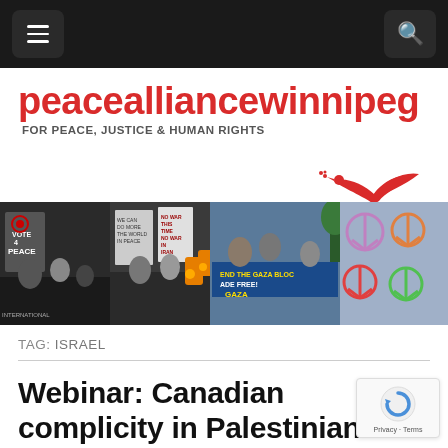Navigation bar with menu and search icons
[Figure (logo): Peace Alliance Winnipeg logo with red text and dove graphic. Tagline: FOR PEACE, JUSTICE & HUMAN RIGHTS]
[Figure (photo): Banner collage of peace protest photos showing signs including 'VOTE 4 PEACE', 'NO WAR IN IRAN', 'END THE GAZA BLOCKADE FREE GAZA', and colorful peace symbols on cloth]
TAG: ISRAEL
Webinar: Canadian complicity in Palestinian dispossession